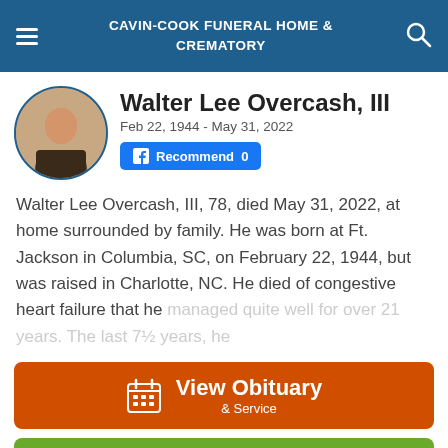CAVIN-COOK FUNERAL HOME & CREMATORY
Walter Lee Overcash, III
Feb 22, 1944 - May 31, 2022
Recommend 0
Walter Lee Overcash, III, 78, died May 31, 2022, at home surrounded by family. He was born at Ft. Jackson in Columbia, SC, on February 22, 1944, but was raised in Charlotte, NC. He died of congestive heart failure that he managed quite well for over 21 years. The last 7½ years, he
View Obituary & Service
Send Flowers
Share